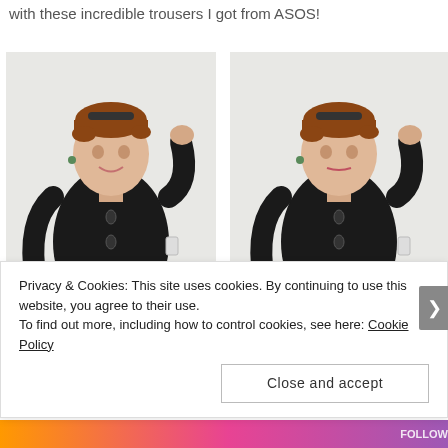with these incredible trousers I got from ASOS!
[Figure (photo): Two side-by-side photos of a young woman with short hair and sunglasses on her head, wearing a black long-sleeve top with keyhole details and plaid/tartan trousers, posing in front of a white wall.]
Privacy & Cookies: This site uses cookies. By continuing to use this website, you agree to their use.
To find out more, including how to control cookies, see here: Cookie Policy
Close and accept